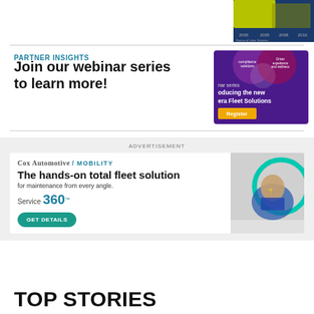[Figure (screenshot): Partially visible chart/graph image at top right corner of page]
PARTNER INSIGHTS
Join our webinar series to learn more!
[Figure (screenshot): Webinar advertisement banner: purple background with circles, text 'webinar series introducing the new era Fleet Solutions', yellow Register button]
ADVERTISEMENT
[Figure (screenshot): Cox Automotive / Mobility ad banner: 'The hands-on total fleet solution for maintenance from every angle. Service 360™ GET DETAILS' with mechanic image]
TOP STORIES